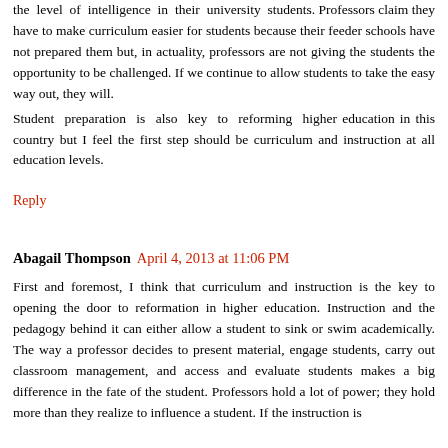the level of intelligence in their university students. Professors claim they have to make curriculum easier for students because their feeder schools have not prepared them but, in actuality, professors are not giving the students the opportunity to be challenged. If we continue to allow students to take the easy way out, they will.
Student preparation is also key to reforming higher education in this country but I feel the first step should be curriculum and instruction at all education levels.
Reply
Abagail Thompson  April 4, 2013 at 11:06 PM
First and foremost, I think that curriculum and instruction is the key to opening the door to reformation in higher education. Instruction and the pedagogy behind it can either allow a student to sink or swim academically. The way a professor decides to present material, engage students, carry out classroom management, and access and evaluate students makes a big difference in the fate of the student. Professors hold a lot of power; they hold more than they realize to influence a student. If the instruction is